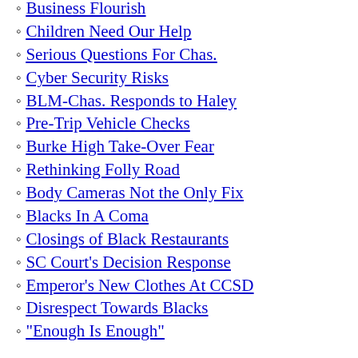Business Flourish
Children Need Our Help
Serious Questions For Chas.
Cyber Security Risks
BLM-Chas. Responds to Haley
Pre-Trip Vehicle Checks
Burke High Take-Over Fear
Rethinking Folly Road
Body Cameras Not the Only Fix
Blacks In A Coma
Closings of Black Restaurants
SC Court's Decision Response
Emperor's New Clothes At CCSD
Disrespect Towards Blacks
"Enough Is Enough"